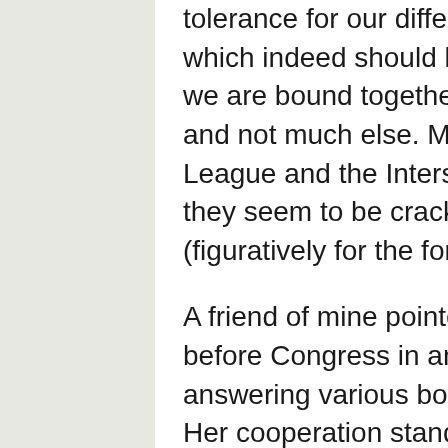tolerance for our differences in culture and religion, which indeed should be celebrated. These days, I think we are bound together by the steel cables of capitalism, and not much else. Maybe the National Football League and the Interstate Highway System, but even they seem to be cracking from the strain of the times (figuratively for the former, literally for the latter.)
A friend of mine pointed out that Hillary Clinton testified before Congress in an 11-hour marathon session, answering various bogus questions about Benghazi. Her cooperation stands in sharp contrast to the current bunch of officials trying to squirm their way out of explaining their actions in an official forum. After the 2016 elections, Hillary said “Please never stop believing that fighting for what’s right is worth it.”